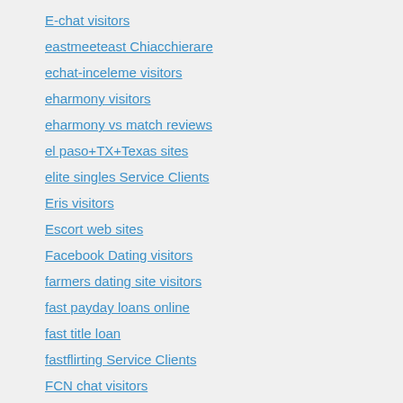E-chat visitors
eastmeeteast Chiacchierare
echat-inceleme visitors
eharmony visitors
eharmony vs match reviews
el paso+TX+Texas sites
elite singles Service Clients
Eris visitors
Escort web sites
Facebook Dating visitors
farmers dating site visitors
fast payday loans online
fast title loan
fastflirting Service Clients
FCN chat visitors